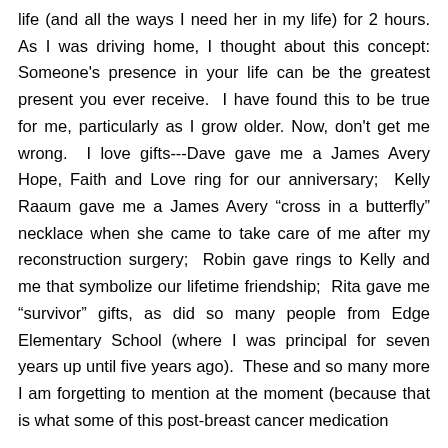life (and all the ways I need her in my life) for 2 hours. As I was driving home, I thought about this concept: Someone's presence in your life can be the greatest present you ever receive.  I have found this to be true for me, particularly as I grow older. Now, don't get me wrong.  I love gifts---Dave gave me a James Avery Hope, Faith and Love ring for our anniversary;  Kelly Raaum gave me a James Avery “cross in a butterfly” necklace when she came to take care of me after my reconstruction surgery;  Robin gave rings to Kelly and me that symbolize our lifetime friendship;  Rita gave me “survivor” gifts, as did so many people from Edge Elementary School (where I was principal for seven years up until five years ago).  These and so many more I am forgetting to mention at the moment (because that is what some of this post-breast cancer medication